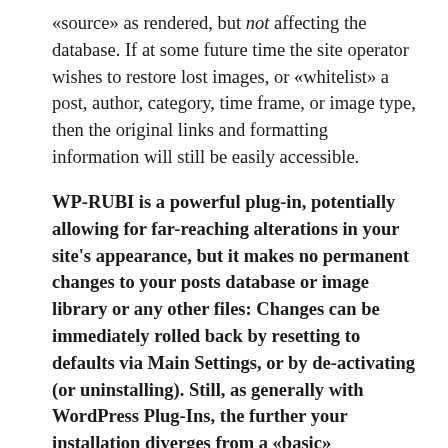«source» as rendered, but not affecting the database. If at some future time the site operator wishes to restore lost images, or «whitelist» a post, author, category, time frame, or image type, then the original links and formatting information will still be easily accessible.
WP-RUBI is a powerful plug-in, potentially allowing for far-reaching alterations in your site's appearance, but it makes no permanent changes to your posts database or image library or any other files: Changes can be immediately rolled back by resetting to defaults via Main Settings, or by de-activating (or uninstalling). Still, as generally with WordPress Plug-Ins, the further your installation diverges from a «basic» WordPress site — by employing unique frameworks, complex themes or plug-ins, or specialized customizations — and the higher your traffic, the more care and